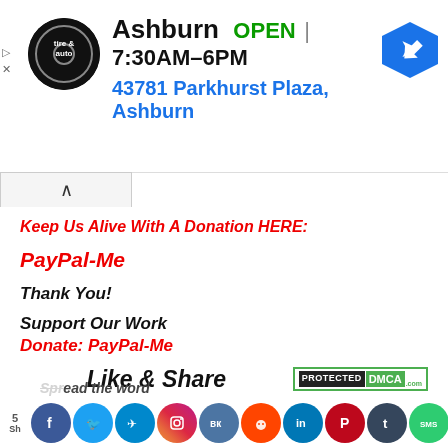[Figure (screenshot): Advertisement banner for Virginia tire & auto Ashburn location showing logo, OPEN status, hours 7:30AM-6PM, address 43781 Parkhurst Plaza, Ashburn, and navigation arrow icon]
Keep Us Alive With A Donation HERE:
PayPal-Me
Thank You!
Support Our Work
Donate: PayPal-Me
Like & Share
[Figure (logo): DMCA Protected badge with green border]
Spread the word
[Figure (infographic): Row of social media sharing icons: Facebook, Twitter, Telegram, Instagram, VK, Reddit, LinkedIn, Pinterest, Tumblr, SMS, Messenger, WhatsApp, Viber, Skype, Email, Gmail, Yahoo, Share, More]